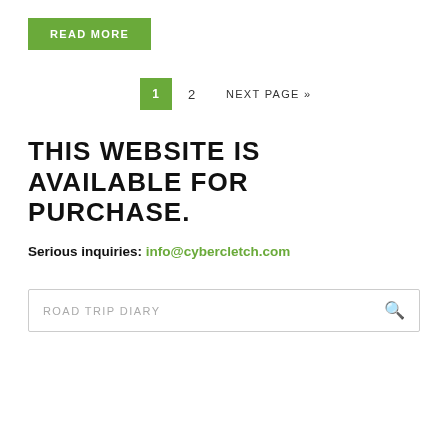READ MORE
1  2  NEXT PAGE »
THIS WEBSITE IS AVAILABLE FOR PURCHASE.
Serious inquiries: info@cybercletch.com
ROAD TRIP DIARY